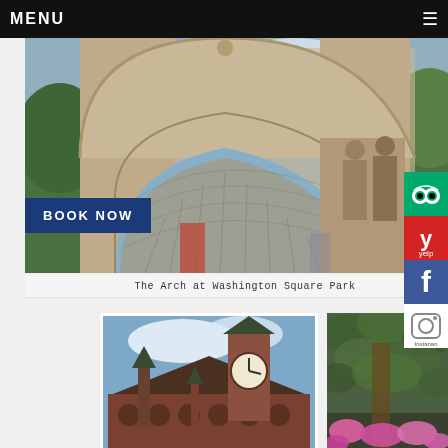MENU
[Figure (photo): The Washington Square Arch photographed from below at an angle, showing ornate carved stonework, relief sculptures of figures, and blue sky with clouds. Green trees visible on sides. A 'BOOK NOW' button overlays the lower left.]
The Arch at Washington Square Park
[Figure (photo): A Victorian red-brick clock tower building photographed from below against blue sky with white clouds, with ornate architectural details and a prominent clock face.]
[Figure (photo): Green ivy or vines covering a stone wall with pink flowers visible at bottom, possibly a garden waterfall setting.]